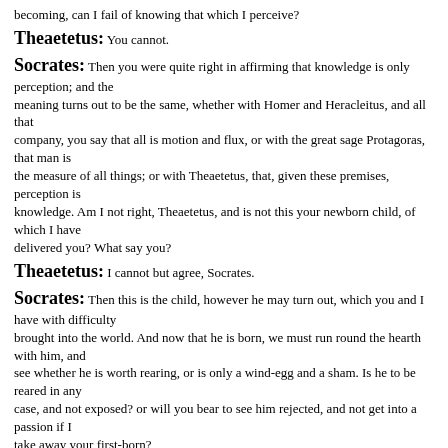becoming, can I fail of knowing that which I perceive?
Theaetetus: You cannot.
Socrates: Then you were quite right in affirming that knowledge is only perception; and the meaning turns out to be the same, whether with Homer and Heracleitus, and all that company, you say that all is motion and flux, or with the great sage Protagoras, that man is the measure of all things; or with Theaetetus, that, given these premises, perception is knowledge. Am I not right, Theaetetus, and is not this your newborn child, of which I have delivered you? What say you?
Theaetetus: I cannot but agree, Socrates.
Socrates: Then this is the child, however he may turn out, which you and I have with difficulty brought into the world. And now that he is born, we must run round the hearth with him, and see whether he is worth rearing, or is only a wind-egg and a sham. Is he to be reared in any case, and not exposed? or will you bear to see him rejected, and not get into a passion if I take away your first-born?
Theodorus: Theaetetus will not be angry, for he is very good-natured. But tell me, Socrates, in heaven's name, is this, after all, not the truth?
Socrates: You, Theodorus, are a lover of theories, and now you innocently fancy that I...